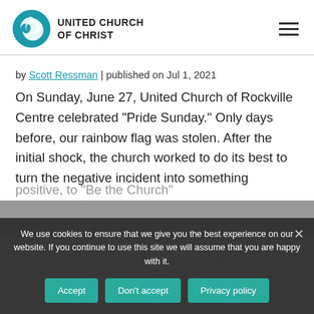[Figure (logo): United Church of Christ logo with teal swirl icon and text]
by Scott Ressman | published on Jul 1, 2021
On Sunday, June 27, United Church of Rockville Centre celebrated “Pride Sunday.” Only days before, our rainbow flag was stolen. After the initial shock, the church worked to do its best to turn the negative incident into something
positive, to “Be the Church”
We use cookies to ensure that we give you the best experience on our website. If you continue to use this site we will assume that you are happy with it.
Accept
Don't accept
Privacy policy